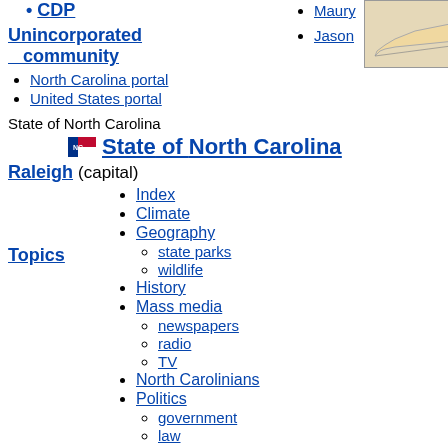CDP
Maury
[Figure (map): Map of North Carolina showing location]
Unincorporated community
Jason
North Carolina portal
United States portal
State of North Carolina
State of North Carolina
Raleigh (capital)
Topics
Index
Climate
Geography
state parks
wildlife
History
Mass media
newspapers
radio
TV
North Carolinians
Politics
government
law